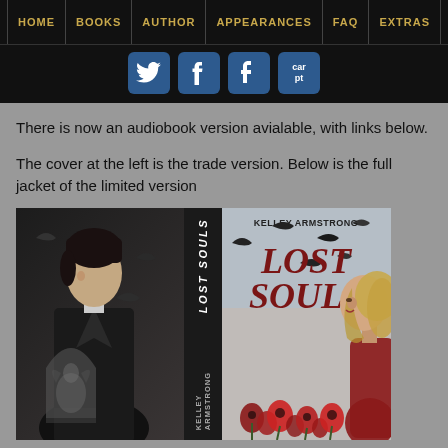HOME | BOOKS | AUTHOR | APPEARANCES | FAQ | EXTRAS
[Figure (illustration): Social media icons row: Twitter (bird), Facebook (f), Tumblr (t), and a partially visible Cart/Pinterest icon on dark background]
There is now an audiobook version avialable, with links below.
The cover at the left is the trade version. Below is the full jacket of the limited version
[Figure (illustration): Book cover for 'Lost Souls' by Kelley Armstrong showing the full jacket: back cover with a dark-haired male figure in a suit, the spine reading 'LOST SOULS' and 'KELLEY ARMSTRONG', and the front cover with a blonde female figure in red dress, red poppies, black birds, and the title 'LOST SOULS' in dark red text with author name 'KELLEY ARMSTRONG' at the top.]